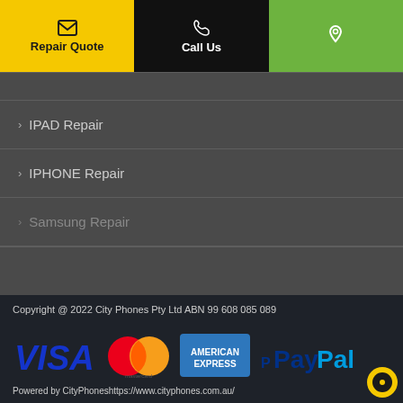Repair Quote | Call Us | (location icon)
IPAD Repair
IPHONE Repair
Samsung Repair
Copyright @ 2022 City Phones Pty Ltd ABN 99 608 085 089
[Figure (logo): Payment method logos: VISA, Mastercard, American Express, PayPal]
Powered by CityPhones https://www.cityphones.com.au/